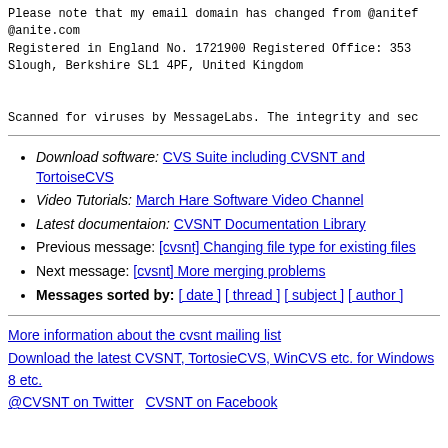Please note that my email domain has changed from @anitef @anite.com
Registered in England No. 1721900 Registered Office: 353
Slough, Berkshire SL1 4PF, United Kingdom
Scanned for viruses by MessageLabs. The integrity and sec
Download software: CVS Suite including CVSNT and TortoiseCVS
Video Tutorials: March Hare Software Video Channel
Latest documentaion: CVSNT Documentation Library
Previous message: [cvsnt] Changing file type for existing files
Next message: [cvsnt] More merging problems
Messages sorted by: [ date ] [ thread ] [ subject ] [ author ]
More information about the cvsnt mailing list
Download the latest CVSNT, TortosieCVS, WinCVS etc. for Windows 8 etc.
@CVSNT on Twitter    CVSNT on Facebook